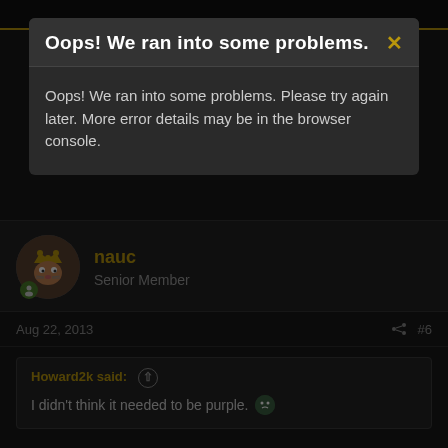Oops! We ran into some problems.
Oops! We ran into some problems. Please try again later. More error details may be in the browser console.
nauc
Senior Member
Aug 22, 2013
#6
Howard2k said:
I didn't think it needed to be purple.
oh, sorry, my bad